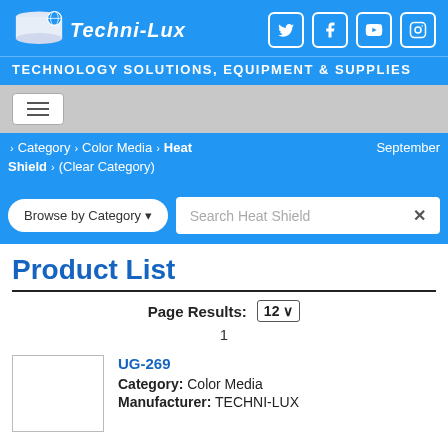[Figure (logo): Techni-Lux logo with globe/roll graphic and social media icons (Twitter, Facebook, YouTube, Instagram)]
TECHNOLOGY SOLUTIONS, EQUIPMENT & SUPPLIES
[Figure (other): Navigation hamburger menu button]
Category › Color Media › Heat Shield › (Clear Category) September
Browse by Category   Search Heat Shield  X
Product List
Page Results: 12
1
UG-269
Category: Color Media
Manufacturer: TECHNI-LUX